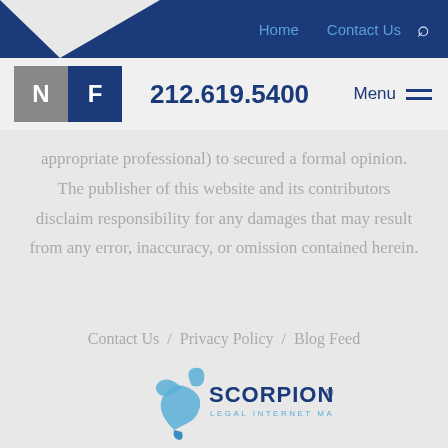Home  Contact Us
[Figure (logo): NF law firm logo with N in gray block and F in dark blue block]
212.619.5400
appropriate professional) to secured a formal opinion. The publisher of this website and its contributors disclaim responsibility for any damages that may result from any error, inaccuracy, or omission contained herein.
Contact Us / Privacy Policy / Blog Feed
© 2022 All Rights Reserved.
[Figure (logo): Scorpion Legal Internet Marketing logo with blue scorpion illustration]